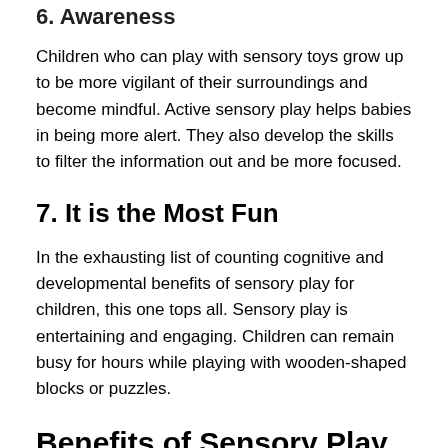6. Awareness
Children who can play with sensory toys grow up to be more vigilant of their surroundings and become mindful. Active sensory play helps babies in being more alert. They also develop the skills to filter the information out and be more focused.
7. It is the Most Fun
In the exhausting list of counting cognitive and developmental benefits of sensory play for children, this one tops all. Sensory play is entertaining and engaging. Children can remain busy for hours while playing with wooden-shaped blocks or puzzles.
Benefits of Sensory Play for Children at Various